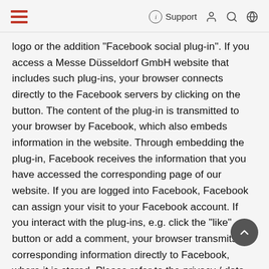Support
logo or the addition "Facebook social plug-in". If you access a Messe Düsseldorf GmbH website that includes such plug-ins, your browser connects directly to the Facebook servers by clicking on the button. The content of the plug-in is transmitted to your browser by Facebook, which also embeds information in the website. Through embedding the plug-in, Facebook receives the information that you have accessed the corresponding page of our website. If you are logged into Facebook, Facebook can assign your visit to your Facebook account. If you interact with the plug-ins, e.g. click the "like" button or add a comment, your browser transmits the corresponding information directly to Facebook, where it is stored. Please refer to the privacy / data protection information issued by Facebook to learn about the purpose and scope of the data collection and the further processing and use of the data by Facebook. You will also find information about your rights and your settings options to